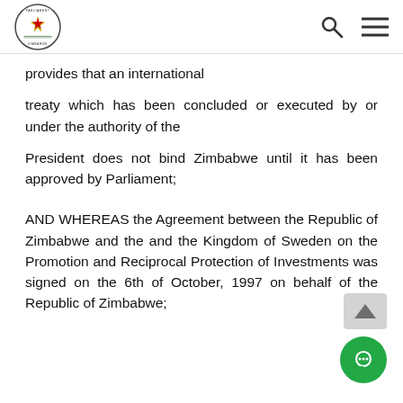Parliament of Zimbabwe logo, search icon, menu icon
provides that an international
treaty which has been concluded or executed by or under the authority of the
President does not bind Zimbabwe until it has been approved by Parliament;
AND WHEREAS the Agreement between the Republic of Zimbabwe and the and the Kingdom of Sweden on the Promotion and Reciprocal Protection of Investments was signed on the 6th of October, 1997 on behalf of the Republic of Zimbabwe;